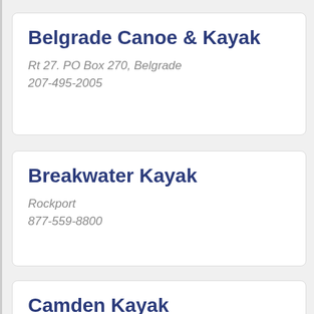Belgrade Canoe & Kayak
Rt 27. PO Box 270, Belgrade
207-495-2005
Breakwater Kayak
Rockport
877-559-8800
Camden Kayak
20 Conway Road, Camden
207-236-7709